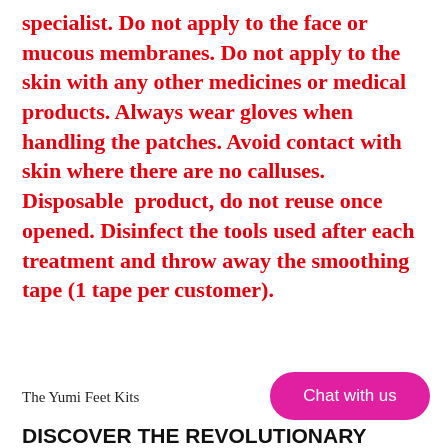specialist. Do not apply to the face or mucous membranes. Do not apply to the skin with any other medicines or medical products. Always wear gloves when handling the patches. Avoid contact with skin where there are no calluses.  Disposable  product, do not reuse once opened. Disinfect the tools used after each treatment and throw away the smoothing tape (1 tape per customer).
The Yumi Feet Kits
Chat with us
DISCOVER THE REVOLUTIONARY